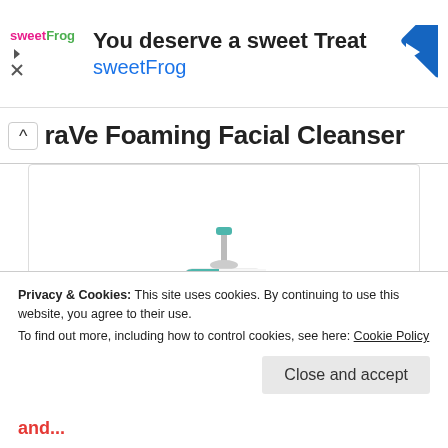[Figure (screenshot): Ad banner for sweetFrog: 'You deserve a sweet Treat' with sweetFrog logo and blue diamond navigation icon]
raVe Foaming Facial Cleanser
[Figure (photo): CeraVe Foaming Facial Cleanser bottle with pump, teal/white design, VALUE SIZE label, product text on front]
Privacy & Cookies: This site uses cookies. By continuing to use this website, you agree to their use.
To find out more, including how to control cookies, see here: Cookie Policy
and...